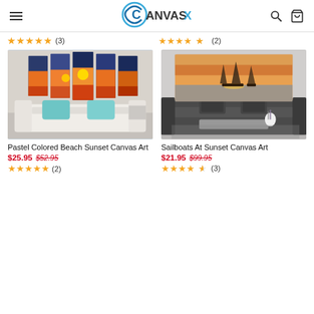CanvasX
[Figure (other): Star rating 5 stars (3 reviews) for top-left product]
[Figure (other): Star rating 4.5 stars (2 reviews) for top-right product]
[Figure (photo): Pastel Colored Beach Sunset Canvas Art - multi-panel sunset over water wall art above a beige sofa with teal pillows]
[Figure (photo): Sailboats At Sunset Canvas Art - painting of sailboats at sunset above a dark grey sofa with coffee table]
Pastel Colored Beach Sunset Canvas Art
$25.95 $52.95
[Figure (other): Star rating 5 stars (2 reviews)]
Sailboats At Sunset Canvas Art
$21.95 $99.95
[Figure (other): Star rating 4.5 stars (3 reviews)]